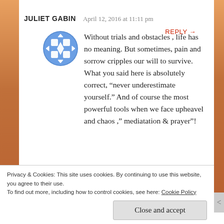JULIET GABIN   April 12, 2016 at 11:11 pm   REPLY →
[Figure (illustration): Blue circular avatar icon with white cross/diamond pattern and directional arrows]
Without trials and obstacles , life has no meaning. But sometimes, pain and sorrow cripples our will to survive.
What you said here is absolutely correct, “never underestimate yourself.” And of course the most powerful tools when we face upheavel and chaos , ” mediatation & prayer”!
I love your story Glexie, keep going, 👍💕🔥😀
Privacy & Cookies: This site uses cookies. By continuing to use this website, you agree to their use.
To find out more, including how to control cookies, see here: Cookie Policy
Close and accept